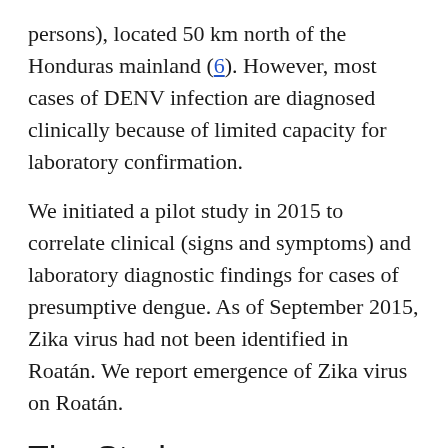persons), located 50 km north of the Honduras mainland (6). However, most cases of DENV infection are diagnosed clinically because of limited capacity for laboratory confirmation.
We initiated a pilot study in 2015 to correlate clinical (signs and symptoms) and laboratory diagnostic findings for cases of presumptive dengue. As of September 2015, Zika virus had not been identified in Roatán. We report emergence of Zika virus on Roatán.
The Study
We conducted a cross-sectional survey of patients who came to Public Hospital Roatán during September 2015–July 2016 and were given a clinical diagnosis of suspected dengue fever. This hospital,